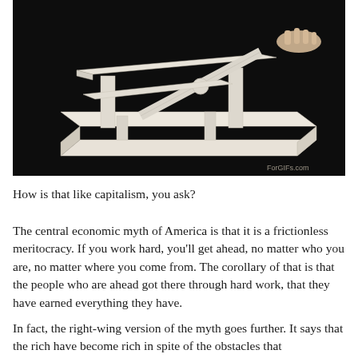[Figure (photo): A photograph on a black background showing a white/cream colored physical architectural or kinetic sculpture model made of paper or cardboard, with flat rectangular panels and a spherical ball element, with a hand visible at the top right touching the model. A watermark reads 'ForGIFs.com' in the bottom right corner of the image.]
How is that like capitalism, you ask?
The central economic myth of America is that it is a frictionless meritocracy. If you work hard, you'll get ahead, no matter who you are, no matter where you come from. The corollary of that is that the people who are ahead got there through hard work, that they have earned everything they have.
In fact, the right-wing version of the myth goes further. It says that the rich have become rich in spite of the obstacles that...